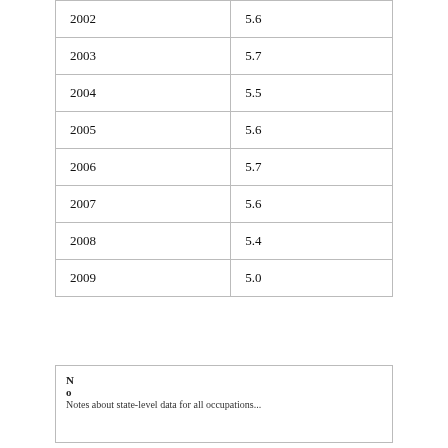| 2002 | 5.6 |
| 2003 | 5.7 |
| 2004 | 5.5 |
| 2005 | 5.6 |
| 2006 | 5.7 |
| 2007 | 5.6 |
| 2008 | 5.4 |
| 2009 | 5.0 |
N
o
Notes about state-level data for all occupations...